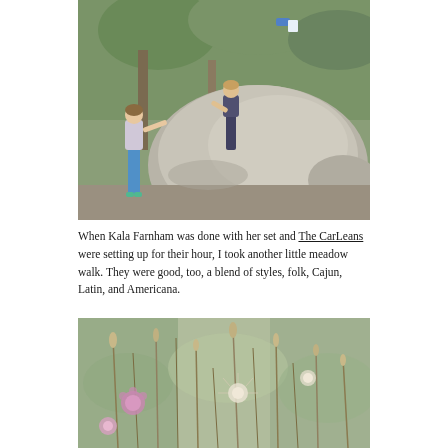[Figure (photo): Children climbing a large boulder in a wooded area with trees and green foliage in the background. One child is at the top of the rock, one is climbing up the side, and a girl in blue leggings is reaching up to help or follow.]
When Kala Farnham was done with her set and The CarLeans were setting up for their hour, I took another little meadow walk. They were good, too, a blend of styles, folk, Cajun, Latin, and Americana.
[Figure (photo): Close-up photograph of meadow wildflowers and grasses with pink thistle-like flowers and seed heads, blurred green background suggesting an outdoor meadow setting.]